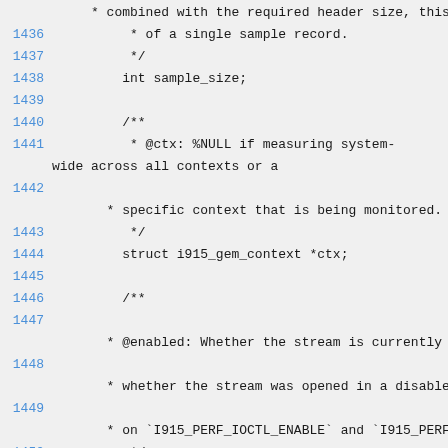Code listing lines 1436-1454 showing C struct documentation and fields: sample_size, ctx, enabled
1436-1454: C source code with line numbers, comments and struct field declarations